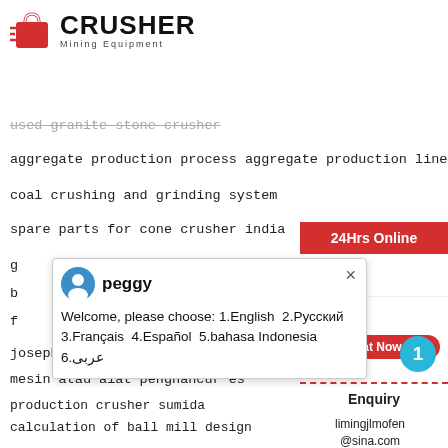[Figure (logo): Crusher Mining Equipment logo with red shopping bag icon and bold CRUSHER text]
used granite stone crusher
aggregate production process aggregate production line
coal crushing and grinding system
spare parts for cone crusher india
g
b
f
joseph hodel ag zurich crusher
mesin atau alat penghancur es
production crusher sumida
calculation of ball mill design
ball milling wet ball mill machine sive retention
advnteges and disadvanteges of milling machine
24Hrs Online
peggy
Welcome, please choose: 1.English  2.Русский  3.Français  4.Español  5.bahasa Indonesia  6.عربى
Need & sugg
Chat Now
Enquiry
limingjlmofen@sina.com